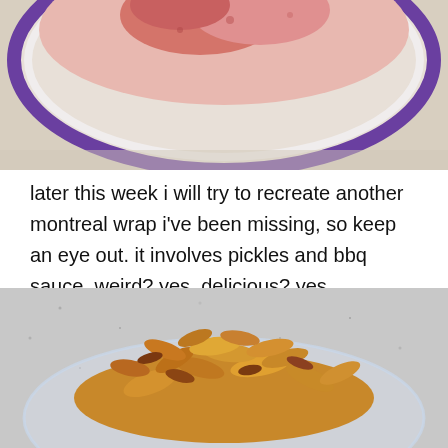[Figure (photo): Top portion of a bowl with purple rim containing pink/red food, sitting on a beige surface, cropped at top]
later this week i will try to recreate another montreal wrap i've been missing, so keep an eye out. it involves pickles and bbq sauce. weird? yes. delicious? yes.
[Figure (photo): A glass bowl filled with crispy fried coconut flakes or bacon bits, golden-brown in color, on a speckled gray surface]